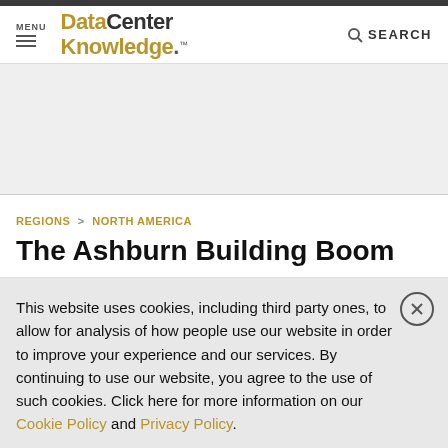DataCenter Knowledge
REGIONS > NORTH AMERICA
The Ashburn Building Boom
This website uses cookies, including third party ones, to allow for analysis of how people use our website in order to improve your experience and our services. By continuing to use our website, you agree to the use of such cookies. Click here for more information on our Cookie Policy and Privacy Policy.